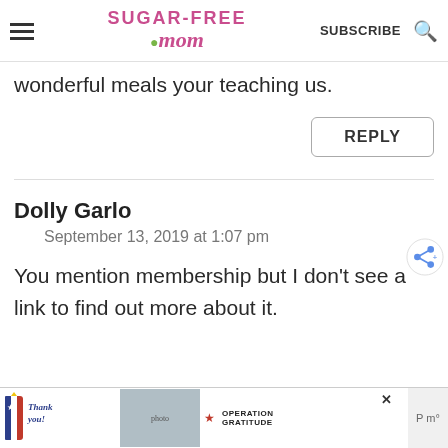Sugar-Free Mom | SUBSCRIBE
wonderful meals your teaching us.
REPLY
Dolly Garlo
September 13, 2019 at 1:07 pm
You mention membership but I don't see a link to find out more about it.
[Figure (screenshot): Advertisement banner for Operation Gratitude with a 'Thank you!' pencil illustration and photo of masked healthcare workers holding cards]